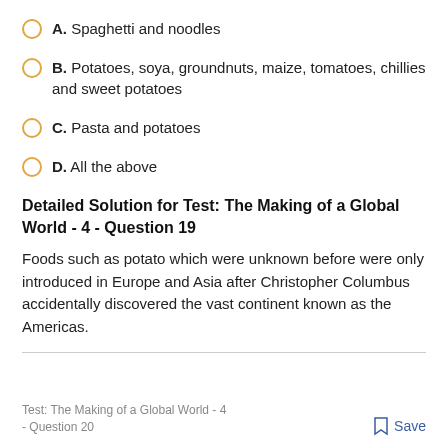A. Spaghetti and noodles
B. Potatoes, soya, groundnuts, maize, tomatoes, chillies and sweet potatoes
C. Pasta and potatoes
D. All the above
Detailed Solution for Test: The Making of a Global World - 4 - Question 19
Foods such as potato which were unknown before were only introduced in Europe and Asia after Christopher Columbus accidentally discovered the vast continent known as the Americas.
Test: The Making of a Global World - 4 - Question 20
Save